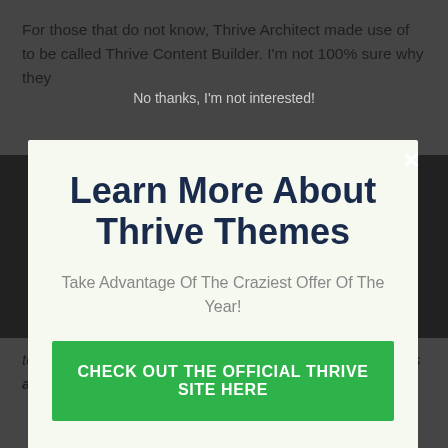For those that do not know, Thrive Architect made use of to be called Thrive Content Builder. I'm not 100% sure why they
Learn More About Thrive Themes
Take Advantage Of The Craziest Offer Of The Year!
CHECK OUT THE OFFICIAL THRIVE SITE HERE
No thanks, I'm not interested!
to m. It will certainly aid you change your pages and also